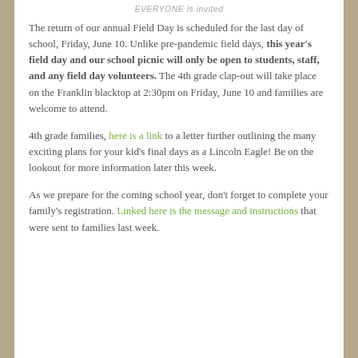EVERYONE is invited
The return of our annual Field Day is scheduled for the last day of school, Friday, June 10. Unlike pre-pandemic field days, this year's field day and our school picnic will only be open to students, staff, and any field day volunteers. The 4th grade clap-out will take place on the Franklin blacktop at 2:30pm on Friday, June 10 and families are welcome to attend.
4th grade families, here is a link to a letter further outlining the many exciting plans for your kid's final days as a Lincoln Eagle! Be on the lookout for more information later this week.
As we prepare for the coming school year, don't forget to complete your family's registration. Linked here is the message and instructions that were sent to families last week.